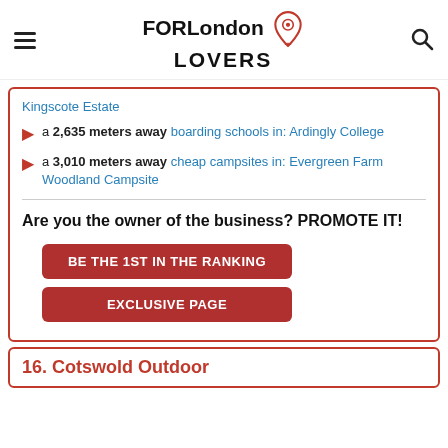FORLondon LOVERS
Kingscote Estate
a 2,635 meters away boarding schools in: Ardingly College
a 3,010 meters away cheap campsites in: Evergreen Farm Woodland Campsite
Are you the owner of the business? PROMOTE IT!
BE THE 1ST IN THE RANKING
EXCLUSIVE PAGE
16. Cotswold Outdoor